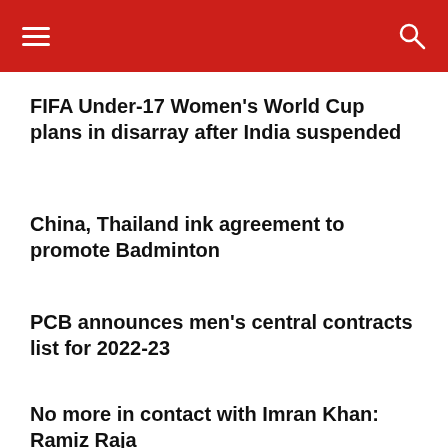FIFA Under-17 Women's World Cup plans in disarray after India suspended
China, Thailand ink agreement to promote Badminton
PCB announces men's central contracts list for 2022-23
No more in contact with Imran Khan: Ramiz Raja